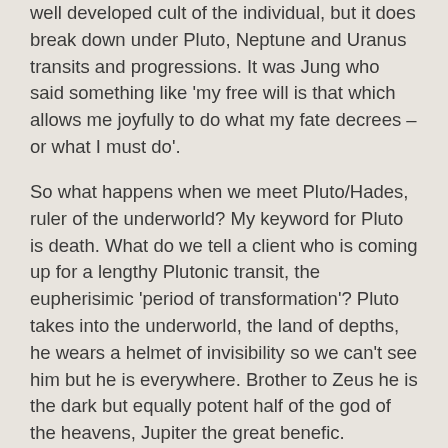well developed cult of the individual, but it does break down under Pluto, Neptune and Uranus transits and progressions. It was Jung who said something like 'my free will is that which allows me joyfully to do what my fate decrees – or what I must do'.
So what happens when we meet Pluto/Hades, ruler of the underworld? My keyword for Pluto is death. What do we tell a client who is coming up for a lengthy Plutonic transit, the eupherisimic 'period of transformation'? Pluto takes into the underworld, the land of depths, he wears a helmet of invisibility so we can't see him but he is everywhere. Brother to Zeus he is the dark but equally potent half of the god of the heavens, Jupiter the great benefic.
Originally the depths were ruled by the great mother whose children were Doom, Old Age Death, Sleep, Dreams, Nemesis, the Morai, the Gorgons Hekate goddess of fate...until patriarchy overcame them. Kali,